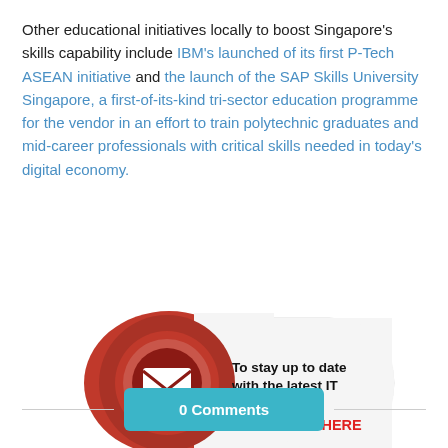Other educational initiatives locally to boost Singapore's skills capability include IBM's launched of its first P-Tech ASEAN initiative and the launch of the SAP Skills University Singapore, a first-of-its-kind tri-sector education programme for the vendor in an effort to train polytechnic graduates and mid-career professionals with critical skills needed in today's digital economy.
[Figure (infographic): Subscribe banner with red circular mail icon on left and white pill-shaped background on right with text 'To stay up to date with the latest IT industry news SUBSCRIBE HERE']
0 Comments